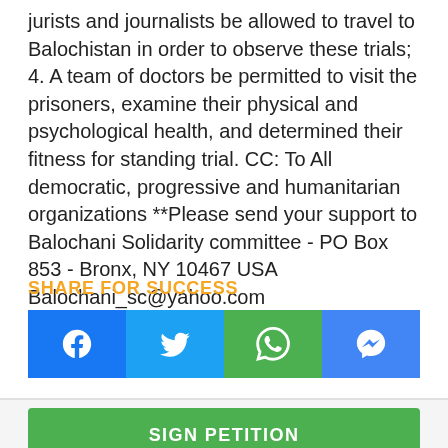jurists and journalists be allowed to travel to Balochistan in order to observe these trials; 4. A team of doctors be permitted to visit the prisoners, examine their physical and psychological health, and determined their fitness for standing trial. CC: To All democratic, progressive and humanitarian organizations **Please send your support to Balochani Solidarity committee - PO Box 853 - Bronx, NY 10467 USA Balochani_sc@yahoo.com
SHARE FOR SUCCESS
[Figure (other): Social media share buttons: Facebook, Twitter, WhatsApp, Messenger]
SIGN PETITION